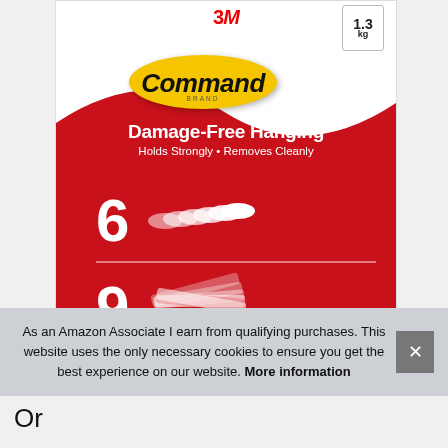[Figure (photo): 3M Command Brand product packaging showing Damage-Free Hanging strips. Red box with yellow Command oval logo, 1.3kg weight rating, showing 6 strips and 9 adhesive strips. White wave design in upper portion.]
As an Amazon Associate I earn from qualifying purchases. This website uses the only necessary cookies to ensure you get the best experience on our website. More information
Or